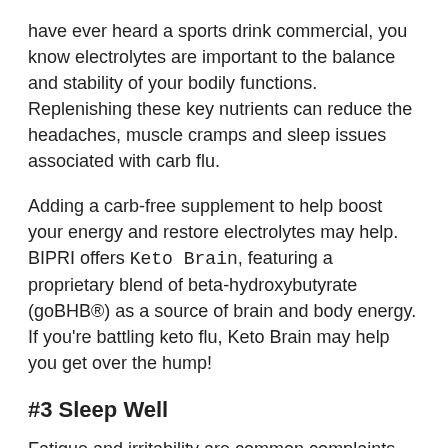have ever heard a sports drink commercial, you know electrolytes are important to the balance and stability of your bodily functions. Replenishing these key nutrients can reduce the headaches, muscle cramps and sleep issues associated with carb flu.
Adding a carb-free supplement to help boost your energy and restore electrolytes may help. BIPRI offers Keto Brain, featuring a proprietary blend of beta-hydroxybutyrate (goBHB®) as a source of brain and body energy. If you're battling keto flu, Keto Brain may help you get over the hump!
#3 Sleep Well
Fatigue and irritability are common complaints when beginning the keto diet. Regardless of the cause, when your body is experiencing new fatigue or irritability, ensuring adequate sleep can help. Plus, when you're sleep deprived,